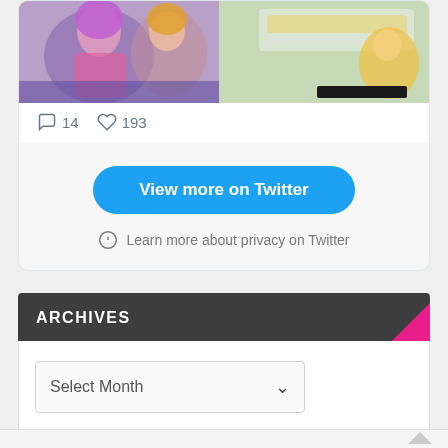[Figure (screenshot): Anime/game artwork image showing colorful female characters, partially visible at top of Twitter card]
14  193
View more on Twitter
Learn more about privacy on Twitter
ARCHIVES
Select Month